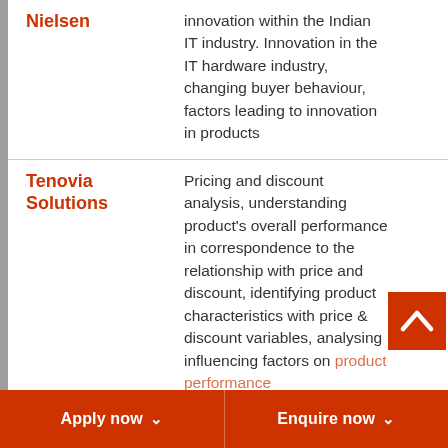| Organization | Description |
| --- | --- |
| Nielsen | innovation within the Indian IT industry. Innovation in the IT hardware industry, changing buyer behaviour, factors leading to innovation in products |
| Tenovia Solutions | Pricing and discount analysis, understanding product's overall performance in correspondence to the relationship with price and discount, identifying product characteristics with price & discount variables, analysing influencing factors on product performance |
Apply now
Enquire now